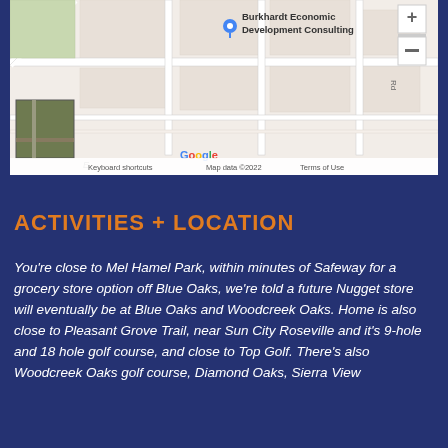[Figure (map): Google Maps screenshot showing location of Burkhardt Economic Development Consulting, with map controls (+ and -), a Google logo, keyboard shortcuts, map data 2022, and Terms of Use in the footer bar. A small thumbnail appears in the lower left of the map.]
ACTIVITIES + LOCATION
You're close to Mel Hamel Park, within minutes of Safeway for a grocery store option off Blue Oaks, we're told a future Nugget store will eventually be at Blue Oaks and Woodcreek Oaks. Home is also close to Pleasant Grove Trail, near Sun City Roseville and it's 9-hole and 18 hole golf course, and close to Top Golf. There's also Woodcreek Oaks golf course, Diamond Oaks, Sierra View